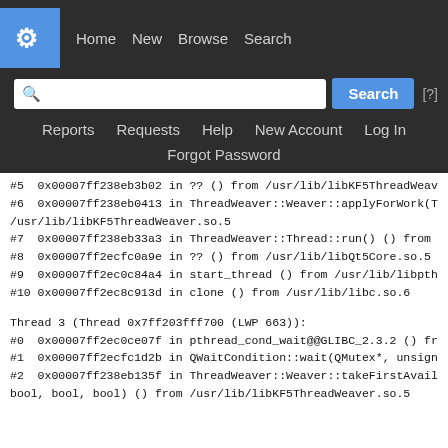[Figure (screenshot): KDE Bugzilla navigation bar with logo, search box, nav links (Home, New, Browse, Search), secondary nav (Reports, Requests, Help, New Account, Log In), and Forgot Password link]
#5  0x00007ff238eb3b02 in ?? () from /usr/lib/libKF5ThreadWeave
#6  0x00007ff238eb0413 in ThreadWeaver::Weaver::applyForWork(T
/usr/lib/libKF5ThreadWeaver.so.5
#7  0x00007ff238eb33a3 in ThreadWeaver::Thread::run() () from /u
#8  0x00007ff2ecfc0a9e in ?? () from /usr/lib/libQt5Core.so.5
#9  0x00007ff2ec0c84a4 in start_thread () from /usr/lib/libpthrea
#10 0x00007ff2ec8c913d in clone () from /usr/lib/libc.so.6
Thread 3 (Thread 0x7ff203fff700 (LWP 663)):
#0  0x00007ff2ec0ce07f in pthread_cond_wait@@GLIBC_2.3.2 () fr
#1  0x00007ff2ecfc1d2b in QWaitCondition::wait(QMutex*, unsigned
#2  0x00007ff238eb135f in ThreadWeaver::Weaver::takeFirstAvailbl
bool, bool, bool) () from /usr/lib/libKF5ThreadWeaver.so.5